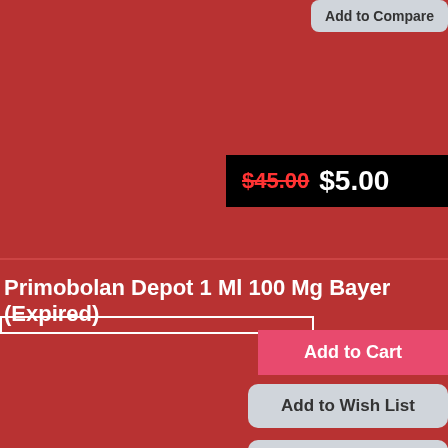Add to Compare
$45.00 $5.00
Primobolan Depot 1 Ml 100 Mg Bayer (Expired)
Add to Cart
Add to Wish List
Add to Compare
$18.00 $5.00
Proscar (Propecia) 30 Tabs 5 Mg Exp